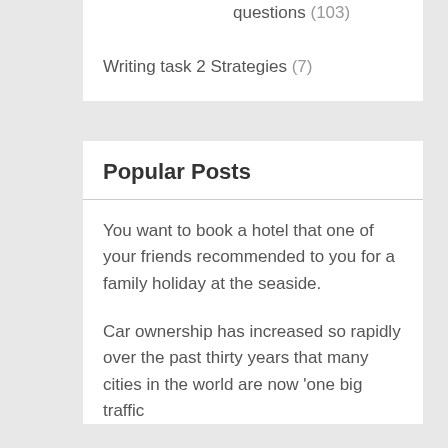questions (103)
Writing task 2 Strategies (7)
Popular Posts
You want to book a hotel that one of your friends recommended to you for a family holiday at the seaside.
Car ownership has increased so rapidly over the past thirty years that many cities in the world are now 'one big traffic